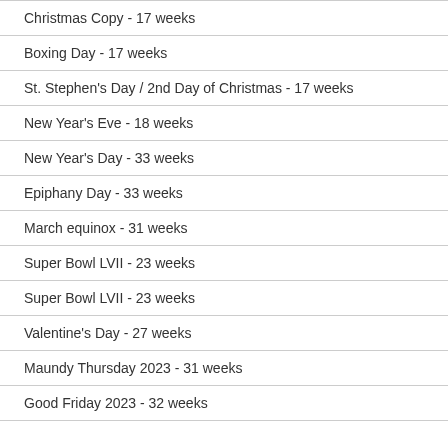Christmas Copy - 17 weeks
Boxing Day - 17 weeks
St. Stephen's Day / 2nd Day of Christmas - 17 weeks
New Year's Eve - 18 weeks
New Year's Day - 33 weeks
Epiphany Day - 33 weeks
March equinox - 31 weeks
Super Bowl LVII - 23 weeks
Super Bowl LVII - 23 weeks
Valentine's Day - 27 weeks
Maundy Thursday 2023 - 31 weeks
Good Friday 2023 - 32 weeks